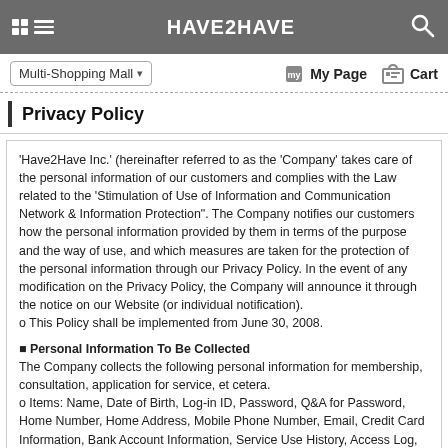HAVE2HAVE
Privacy Policy
'Have2Have Inc.' (hereinafter referred to as the 'Company' takes care of the personal information of our customers and complies with the Law related to the 'Stimulation of Use of Information and Communication Network & Information Protection". The Company notifies our customers how the personal information provided by them in terms of the purpose and the way of use, and which measures are taken for the protection of the personal information through our Privacy Policy. In the event of any modification on the Privacy Policy, the Company will announce it through the notice on our Website (or individual notification).
o This Policy shall be implemented from June 30, 2008.
■ Personal Information To Be Collected
The Company collects the following personal information for membership, consultation, application for service, et cetera.
o Items: Name, Date of Birth, Log-in ID, Password, Q&A for Password, Home Number, Home Address, Mobile Phone Number, Email, Credit Card Information, Bank Account Information, Service Use History, Access Log, Cookie, Access IP Information, Payment Record